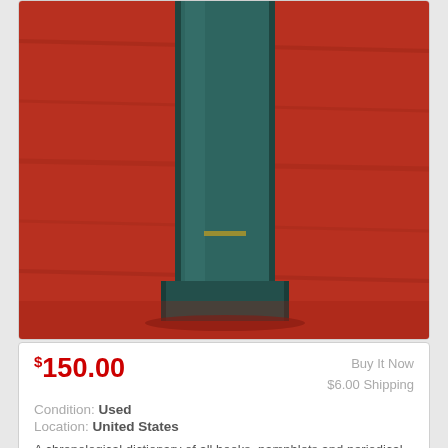[Figure (photo): Photo of a dark teal hardcover book spine standing upright on a red wooden surface, viewed from the side/bottom angle.]
$150.00
Buy It Now
$6.00 Shipping
Condition: Used
Location: United States
A chronological dictionary of all books, pamphlets and periodical publications printed in the USA. Limited edition facsimile of the original edition. ... more
A PRESENT SAVIOUR - UNDATED